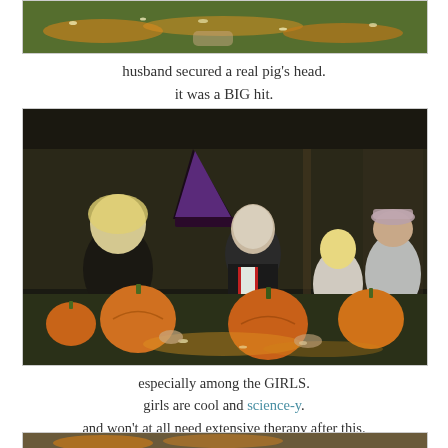[Figure (photo): Partial photo at top showing pumpkin carving mess with orange and yellow pumpkin innards on a green surface.]
husband secured a real pig's head.
it was a BIG hit.
[Figure (photo): Halloween scene indoors showing adults and children in costumes (witch hat, vampire, baseball cap) gathered around a table carving pumpkins. Several orange pumpkins visible on a messy table covered with pumpkin innards.]
especially among the GIRLS.
girls are cool and science-y.
and won't at all need extensive therapy after this.
[Figure (photo): Partial photo at bottom, cropped, showing a similar pumpkin carving scene.]